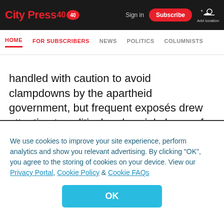City Press 40 | Sign in | Subscribe | Add location
HOME  FOR SUBSCRIBERS  NEWS  POLITICS  COLUMNISTS
handled with caution to avoid clampdowns by the apartheid government, but frequent exposés drew attention to political and social abuses, for example the exploitation of labourers on sugar farms. Drum also chronicled many African events, including the ANC's Defiance Campaign and the treason trials, the rise of
We use cookies to improve your site experience, perform analytics and show you relevant advertising. By clicking "OK", you agree to the storing of cookies on your device. View our Privacy Portal, Cookie Policy & Cookie FAQs
OK